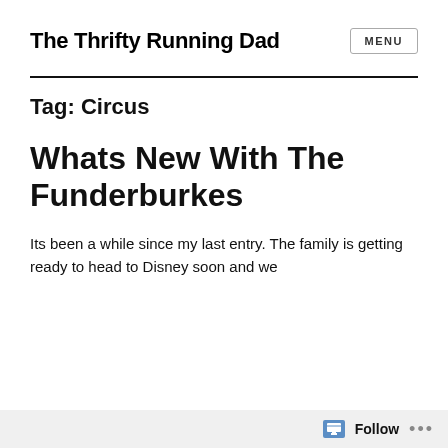The Thrifty Running Dad
Tag: Circus
Whats New With The Funderburkes
Its been a while since my last entry. The family is getting ready to head to Disney soon and we